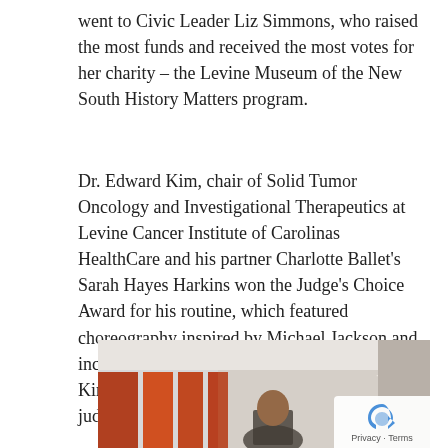went to Civic Leader Liz Simmons, who raised the most funds and received the most votes for her charity – the Levine Museum of the New South History Matters program.
Dr. Edward Kim, chair of Solid Tumor Oncology and Investigational Therapeutics at Levine Cancer Institute of Carolinas HealthCare and his partner Charlotte Ballet's Sarah Hayes Harkins won the Judge's Choice Award for his routine, which featured choreography inspired by Michael Jackson and included a special cameo by his son Alex. Dr. Kim received a perfect score of 30 from the judging panel.
[Figure (photo): A photo of people at an event venue with red/orange lighting in the background and a person visible in the foreground.]